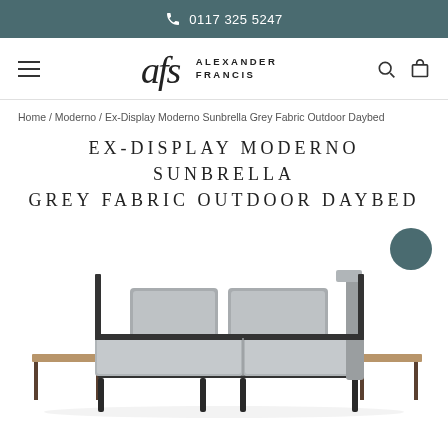0117 325 5247
[Figure (logo): Alexander Francis brand logo with stylized 'afs' script and uppercase text]
Home / Moderno / Ex-Display Moderno Sunbrella Grey Fabric Outdoor Daybed
EX-DISPLAY MODERNO SUNBRELLA GREY FABRIC OUTDOOR DAYBED
[Figure (photo): Product photo of Ex-Display Moderno Sunbrella Grey Fabric Outdoor Daybed with grey cushions and dark metal frame with wood side tables, shown on white background. A teal circular color swatch is positioned in the upper right.]